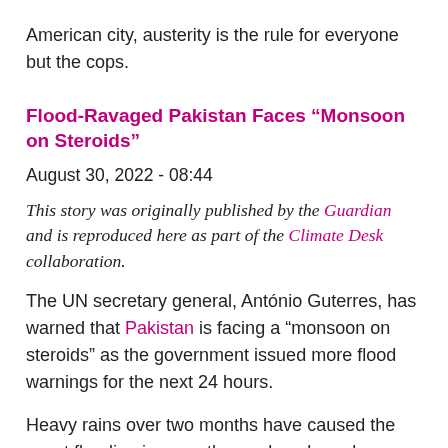American city, austerity is the rule for everyone but the cops.
Flood-Ravaged Pakistan Faces “Monsoon on Steroids”
August 30, 2022 - 08:44
This story was originally published by the Guardian and is reproduced here as part of the Climate Desk collaboration.
The UN secretary general, António Guterres, has warned that Pakistan is facing a “monsoon on steroids” as the government issued more flood warnings for the next 24 hours.
Heavy rains over two months have caused the worst flooding in more than a decade and damaged more than 1 million homes.
Guterres said on Tuesday that south Asia was a